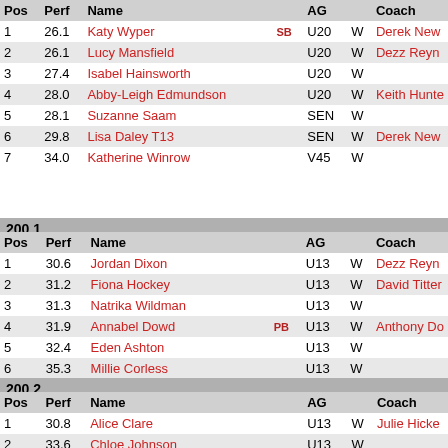| Pos | Perf | Name |  | AG |  | Coach |
| --- | --- | --- | --- | --- | --- | --- |
| 1 | 26.1 | Katy Wyper | SB | U20 | W | Derek New... |
| 2 | 26.1 | Lucy Mansfield |  | U20 | W | Dezz Reyn... |
| 3 | 27.4 | Isabel Hainsworth |  | U20 | W |  |
| 4 | 28.0 | Abby-Leigh Edmundson |  | U20 | W | Keith Hunte... |
| 5 | 28.1 | Suzanne Saam |  | SEN | W |  |
| 6 | 29.8 | Lisa Daley T13 |  | SEN | W | Derek New... |
| 7 | 34.0 | Katherine Winrow |  | V45 | W |  |
200 1
| Pos | Perf | Name |  | AG |  | Coach |
| --- | --- | --- | --- | --- | --- | --- |
| 1 | 30.6 | Jordan Dixon |  | U13 | W | Dezz Reyn... |
| 2 | 31.2 | Fiona Hockey |  | U13 | W | David Titter... |
| 3 | 31.3 | Natrika Wildman |  | U13 | W |  |
| 4 | 31.9 | Annabel Dowd | PB | U13 | W | Anthony Do... |
| 5 | 32.4 | Eden Ashton |  | U13 | W |  |
| 6 | 35.3 | Millie Corless |  | U13 | W |  |
200 2
| Pos | Perf | Name |  | AG |  | Coach |
| --- | --- | --- | --- | --- | --- | --- |
| 1 | 30.8 | Alice Clare |  | U13 | W | Julie Hicke... |
| 2 | 33.6 | Chloe Johnson |  | U13 | W |  |
| 3 | 33.7 | Georgia Hannam | SB | U13 | W |  |
| 4 | 34.2 | Jessica Rogers | SB | U13 | W | Stan Taylor... |
| 5 | 34.9 | Alana McClarence | SB | U13 | W |  |